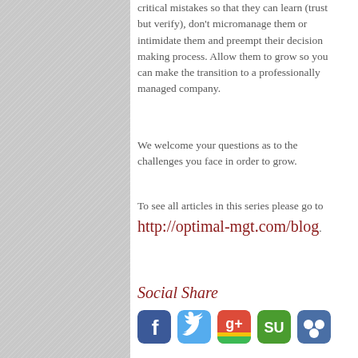critical mistakes so that they can learn (trust but verify), don't micromanage them or intimidate them and preempt their decision making process. Allow them to grow so you can make the transition to a professionally managed company.
We welcome your questions as to the challenges you face in order to grow.
To see all articles in this series please go to http://optimal-mgt.com/blog.
Social Share
[Figure (illustration): Row of five social media icon buttons: Facebook (blue), Twitter (light blue), Google+ (red/green/yellow), StumbleUpon (green), and an unknown network (purple/blue), all with rounded square styling.]